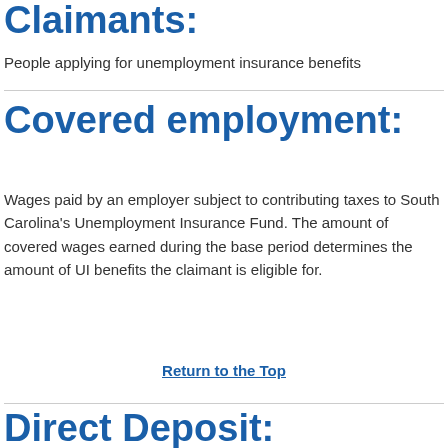Claimants:
People applying for unemployment insurance benefits
Covered employment:
Wages paid by an employer subject to contributing taxes to South Carolina's Unemployment Insurance Fund. The amount of covered wages earned during the base period determines the amount of UI benefits the claimant is eligible for.
Return to the Top
Direct Deposit: